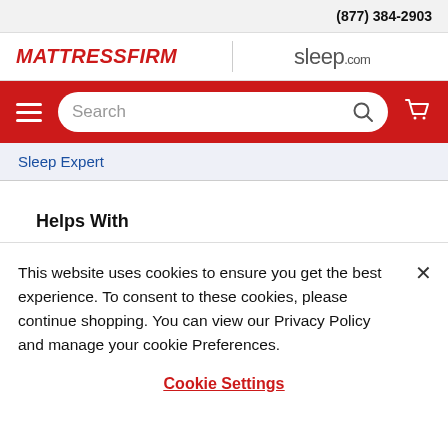(877) 384-2903
[Figure (logo): MattressFirm logo (red italic bold text) and sleep.com logo side by side]
[Figure (screenshot): Red navigation bar with hamburger menu, search input box with magnifying glass icon, and shopping cart icon]
Sleep Expert
Helps With
This website uses cookies to ensure you get the best experience. To consent to these cookies, please continue shopping. You can view our Privacy Policy and manage your cookie Preferences.
Cookie Settings